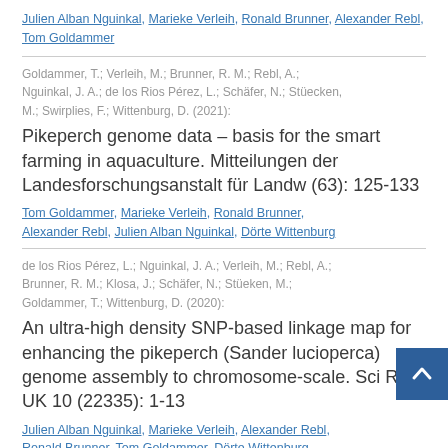Julien Alban Nguinkal, Marieke Verleih, Ronald Brunner, Alexander Rebl, Tom Goldammer
Goldammer, T.; Verleih, M.; Brunner, R. M.; Rebl, A.; Nguinkal, J. A.; de los Rios Pérez, L.; Schäfer, N.; Stüecken, M.; Swirplies, F.; Wittenburg, D. (2021):
Pikeperch genome data – basis for the smart farming in aquaculture. Mitteilungen der Landesforschungsanstalt für Landw (63): 125-133
Tom Goldammer, Marieke Verleih, Ronald Brunner, Alexander Rebl, Julien Alban Nguinkal, Dörte Wittenburg
de los Rios Pérez, L.; Nguinkal, J. A.; Verleih, M.; Rebl, A.; Brunner, R. M.; Klosa, J.; Schäfer, N.; Stüeken, M.; Goldammer, T.; Wittenburg, D. (2020):
An ultra-high density SNP-based linkage map for enhancing the pikeperch (Sander lucioperca) genome assembly to chromosome-scale. Sci Rep-UK 10 (22335): 1-13
Julien Alban Nguinkal, Marieke Verleih, Alexander Rebl, Ronald Brunner, Tom Goldammer, Dörte Wittenburg